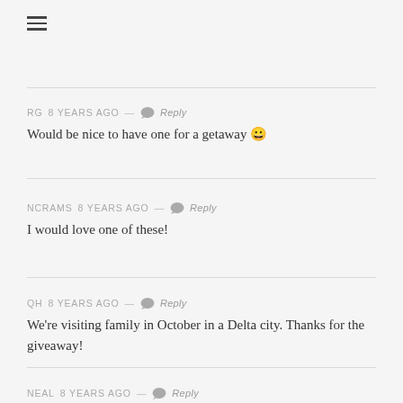[Figure (other): Hamburger menu icon (three horizontal lines)]
RG 8 years ago — Reply
Would be nice to have one for a getaway 🙂
NCRAMS 8 years ago — Reply
I would love one of these!
QH 8 years ago — Reply
We're visiting family in October in a Delta city. Thanks for the giveaway!
NEAL 8 years ago — Reply
Count me in! Would love a little help to visit family!